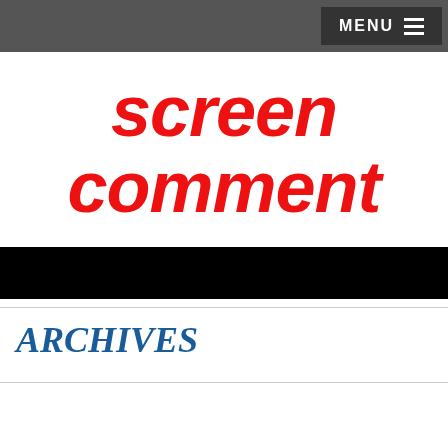MENU
[Figure (logo): Screen Comment logo in bold red italic text reading 'screen comment' on two lines]
ARCHIVES